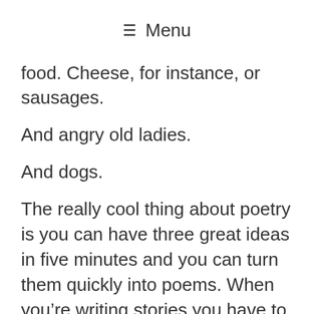☰ Menu
food. Cheese, for instance, or sausages.
And angry old ladies.
And dogs.
The really cool thing about poetry is you can have three great ideas in five minutes and you can turn them quickly into poems. When you're writing stories you have to run with one idea and keep expanding on it. But every poem is its own world and that's a cool way to write.